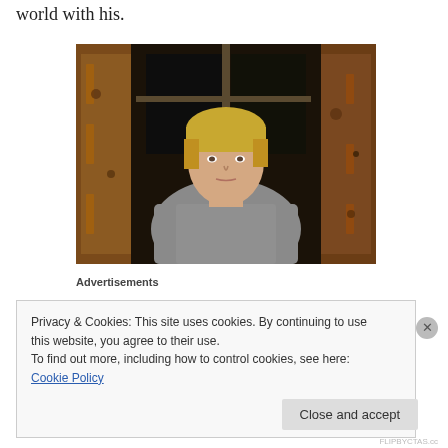world with his.
[Figure (photo): Young man with blond hair wearing a grey sweater, standing in front of a rusty metal door/frame background]
Advertisements
Privacy & Cookies: This site uses cookies. By continuing to use this website, you agree to their use.
To find out more, including how to control cookies, see here: Cookie Policy
Close and accept